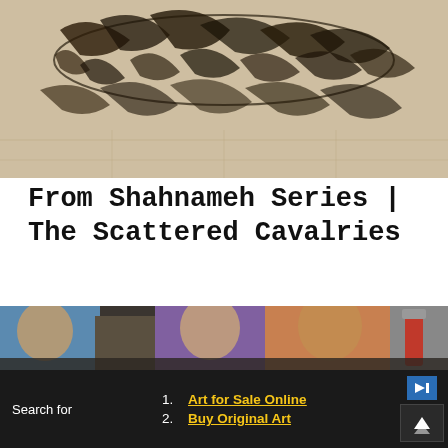[Figure (photo): Top portion of an artwork from the Shahnameh Series showing dark brushstroke figures resembling scattered cavalries on a light beige/cream background.]
From Shahnameh Series | The Scattered Cavalries
[Figure (photo): An artist working in a studio, crouching in front of three large canvases depicting abstract portrait-style faces with colorful collage elements. Spray paint cans visible on the right.]
Search for
1. Art for Sale Online
2. Buy Original Art